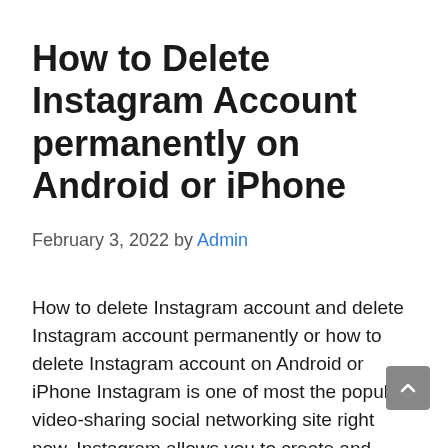How to Delete Instagram Account permanently on Android or iPhone
February 3, 2022 by Admin
How to delete Instagram account and delete Instagram account permanently or how to delete Instagram account on Android or iPhone Instagram is one of most the popular video-sharing social networking site right now. Instagram allows you to create and share your photos, stories, and videos with the friends and followers you care about. Not only … Read more